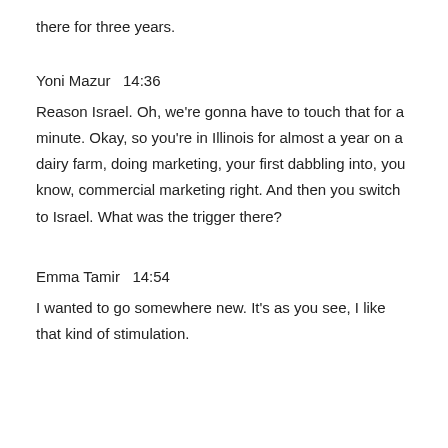there for three years.
Yoni Mazur  14:36
Reason Israel. Oh, we're gonna have to touch that for a minute. Okay, so you're in Illinois for almost a year on a dairy farm, doing marketing, your first dabbling into, you know, commercial marketing right. And then you switch to Israel. What was the trigger there?
Emma Tamir  14:54
I wanted to go somewhere new. It's as you see, I like that kind of stimulation.